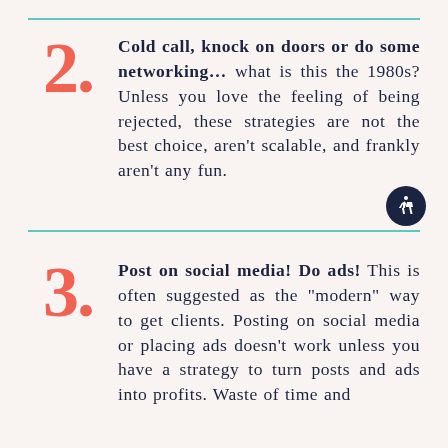2. Cold call, knock on doors or do some networking… what is this the 1980s? Unless you love the feeling of being rejected, these strategies are not the best choice, aren't scalable, and frankly aren't any fun.
3. Post on social media! Do ads! This is often suggested as the "modern" way to get clients. Posting on social media or placing ads doesn't work unless you have a strategy to turn posts and ads into profits. Waste of time and